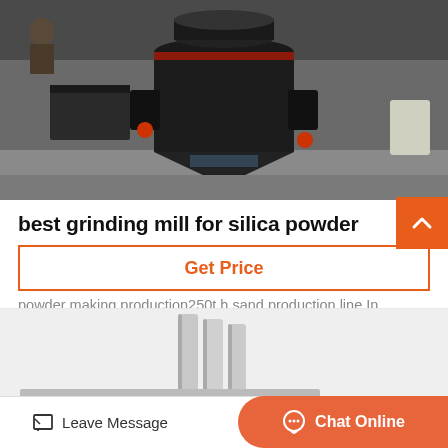[Figure (photo): Industrial grinding mill machine (cone/vertical mill) in dark metal, photographed in a factory setting]
best grinding mill for silica powder
Silica sand ball mill brief introduction Silica sand ball mill is an efficient machine for powder grinding And it is widely used in powder making production250t h sand production line In...
Get Price
[Figure (photo): Partial view of industrial grinding/milling equipment, light grey metallic columns/rods visible]
Leave Message
Chat Online